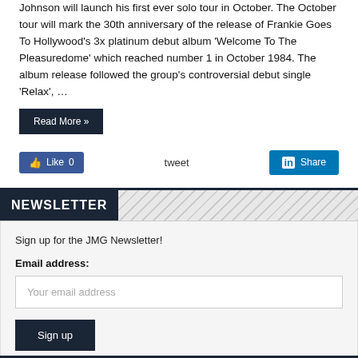Johnson will launch his first ever solo tour in October. The October tour will mark the 30th anniversary of the release of Frankie Goes To Hollywood's 3x platinum debut album 'Welcome To The Pleasuredome' which reached number 1 in October 1984. The album release followed the group's controversial debut single 'Relax', …
Read More »
Like 0   tweet   Share
NEWSLETTER
Sign up for the JMG Newsletter!
Email address:
Your email address
Sign up